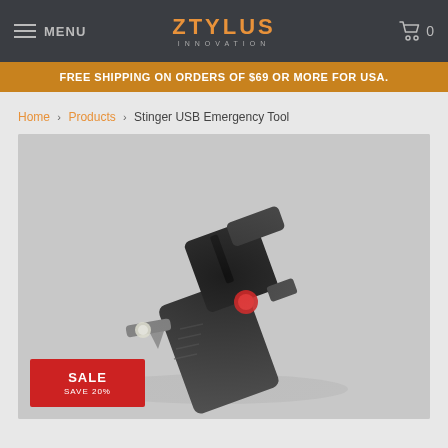MENU | ZTYLUS INNOVATION | 0
FREE SHIPPING ON ORDERS OF $69 OR MORE FOR USA.
Home > Products > Stinger USB Emergency Tool
[Figure (photo): Product photo of the Stinger USB Emergency Tool, a black tactical tool/charger device shown at an angle on a gray background. A red sale badge is visible in the bottom-left corner of the image area.]